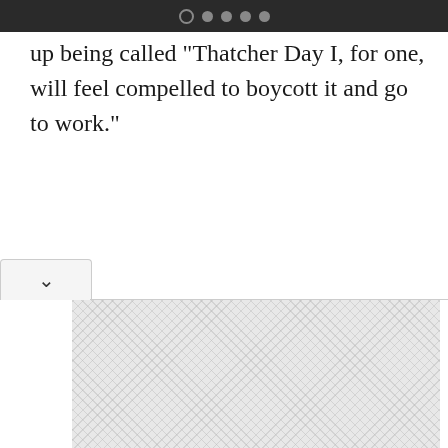● ● ● ●
up being called "Thatcher Day I, for one, will feel compelled to boycott it and go to work."
[Figure (other): Collapsed content section with chevron toggle button and a crosshatched placeholder image area below a separator line]